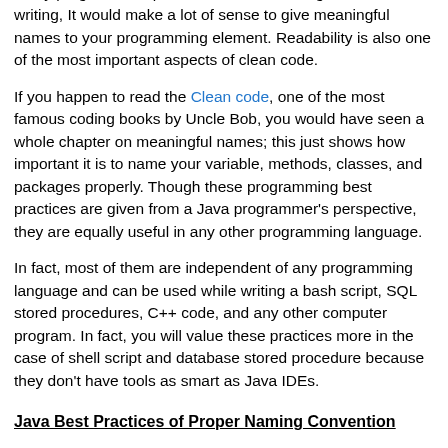every programmer spends more time reading code than writing, It would make a lot of sense to give meaningful names to your programming element. Readability is also one of the most important aspects of clean code.
If you happen to read the Clean code, one of the most famous coding books by Uncle Bob, you would have seen a whole chapter on meaningful names; this just shows how important it is to name your variable, methods, classes, and packages properly. Though these programming best practices are given from a Java programmer's perspective, they are equally useful in any other programming language.
In fact, most of them are independent of any programming language and can be used while writing a bash script, SQL stored procedures, C++ code, and any other computer program. In fact, you will value these practices more in the case of shell script and database stored procedure because they don't have tools as smart as Java IDEs.
Java Best Practices of Proper Naming Convention